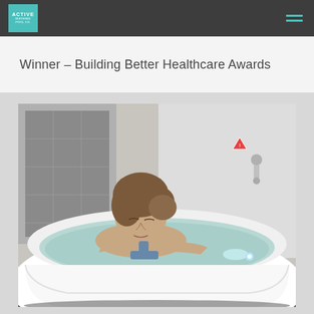ACTIVE [logo] — navigation header with hamburger menu
Winner – Building Better Healthcare Awards
[Figure (photo): A woman in a blue swimsuit resting her chin and arms on the edge of a large white birthing pool/hydrotherapy bath, eyes closed, in a clinical white room with tiled wall panels visible in the background. The bath is filled with water.]